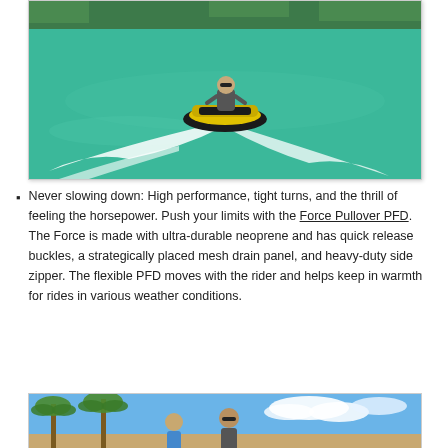[Figure (photo): Aerial view of a person riding a yellow and black jet ski on turquoise water, leaving a white wake, with mangrove islands in the background.]
Never slowing down: High performance, tight turns, and the thrill of feeling the horsepower. Push your limits with the Force Pullover PFD. The Force is made with ultra-durable neoprene and has quick release buckles, a strategically placed mesh drain panel, and heavy-duty side zipper. The flexible PFD moves with the rider and helps keep in warmth for rides in various weather conditions.
[Figure (photo): Two people outdoors near palm trees with a blue sky, appearing to be at a tropical location.]